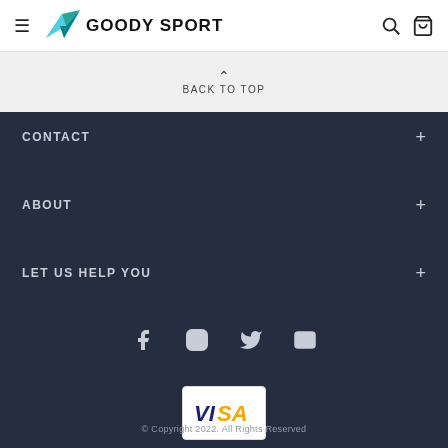GOODY SPORT
BACK TO TOP
CONTACT
ABOUT
LET US HELP YOU
[Figure (logo): Social media icons: Facebook, Instagram, Twitter, YouTube]
[Figure (logo): VISA payment card logo]
© Copyright 2022. All Rights Reserved